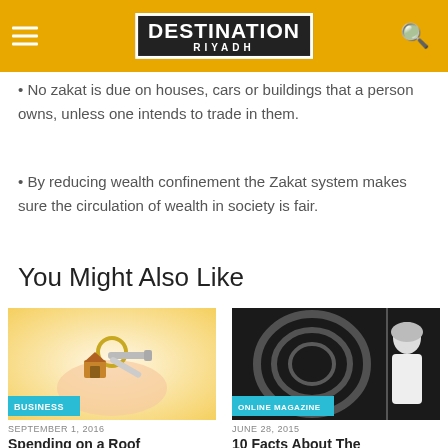DESTINATION RIYADH
No zakat is due on houses, cars or buildings that a person owns, unless one intends to trade in them.
By reducing wealth confinement the Zakat system makes sure the circulation of wealth in society is fair.
You Might Also Like
[Figure (photo): Hand holding house keys with a small house keychain, with a warm yellow/orange background. Tag: BUSINESS]
SEPTEMBER 1, 2016
Spending on a Roof
[Figure (photo): Black and white photograph of a man in traditional Arab dress. Tag: ONLINE MAGAZINE]
JUNE 28, 2015
10 Facts About The